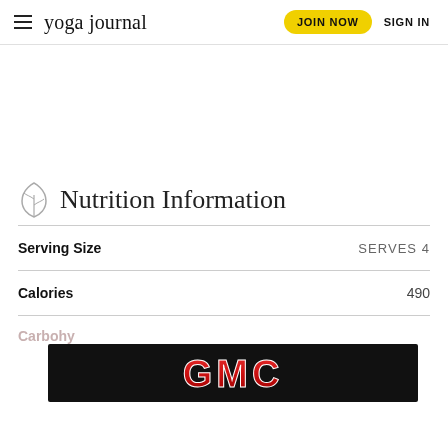yoga journal  JOIN NOW  SIGN IN
Nutrition Information
|  |  |
| --- | --- |
| Serving Size | SERVES 4 |
| Calories | 490 |
| Carbohy... |  |
[Figure (other): GMC advertisement banner overlaid on bottom of page with close button]